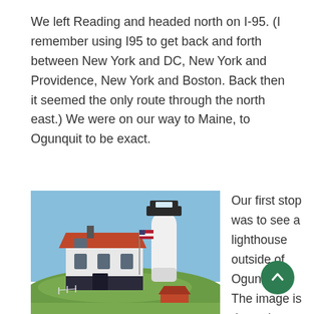We left Reading and headed north on I-95. (I remember using I95 to get back and forth between New York and DC, New York and Providence, New York and Boston. Back then it seemed the only route through the north east.) We were on our way to Maine, to Ogunquit to be exact.
[Figure (photo): Photograph of a lighthouse (likely Nubble Light / Cape Neddick Lighthouse) near Ogunquit, Maine. A tall white cylindrical lighthouse tower with a dark lantern room at the top stands next to a white keeper's house with a red/orange roof. An American flag flies on a pole. Green grassy hillside in the foreground. A small red outbuilding is visible in the lower right. Blue sky background.]
Our first stop was to see a lighthouse outside of Ogunquit. The image is deceptive, because the lighthouse is